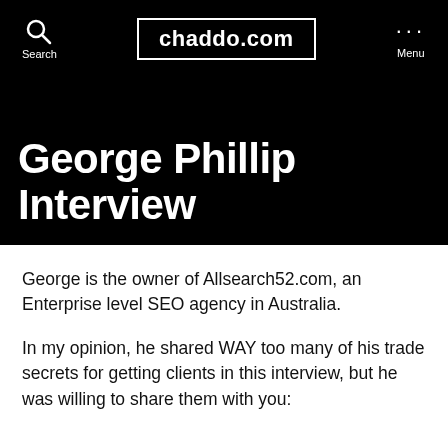chaddo.com
George Phillip Interview
George is the owner of Allsearch52.com, an Enterprise level SEO agency in Australia.
In my opinion, he shared WAY too many of his trade secrets for getting clients in this interview, but he was willing to share them with you: